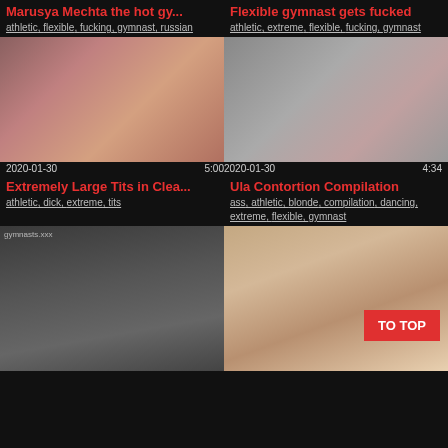Marusya Mechta the hot gy...
athletic, flexible, fucking, gymnast, russian
[Figure (photo): Video thumbnail showing a large-breasted woman in a red top sitting in a car]
Flexible gymnast gets fucked
athletic, extreme, flexible, fucking, gymnast
[Figure (photo): Video thumbnail showing two people in a room]
2020-01-30   5:00
2020-01-30   4:34
Extremely Large Tits in Clea...
athletic, dick, extreme, tits
Ula Contortion Compilation
ass, athletic, blonde, compilation, dancing, extreme, flexible, gymnast
[Figure (photo): Video thumbnail of flexible woman against dark background]
[Figure (photo): Video thumbnail of woman in room with TO TOP button overlay]